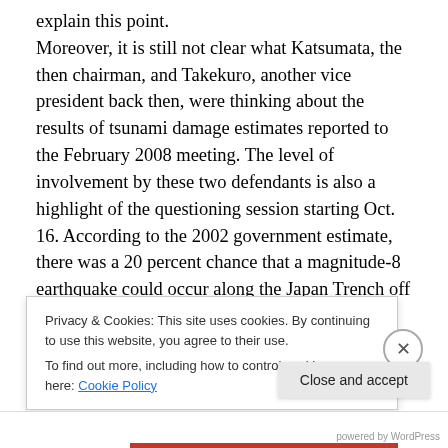explain this point. Moreover, it is still not clear what Katsumata, the then chairman, and Takekuro, another vice president back then, were thinking about the results of tsunami damage estimates reported to the February 2008 meeting. The level of involvement by these two defendants is also a highlight of the questioning session starting Oct. 16. According to the 2002 government estimate, there was a 20 percent chance that a magnitude-8 earthquake could occur along the Japan Trench off the northeastern Japan coast of Sanriku and the eastern coast of Boso during the
Privacy & Cookies: This site uses cookies. By continuing to use this website, you agree to their use. To find out more, including how to control cookies, see here: Cookie Policy
Close and accept